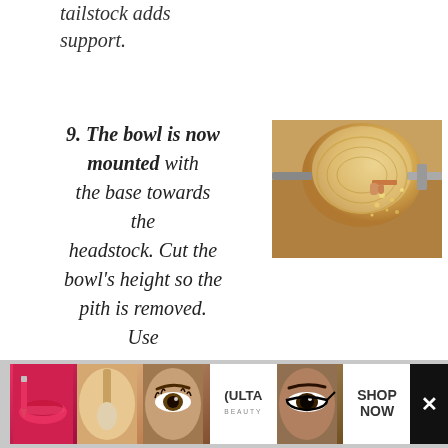tailstock adds support.
9. The bowl is now mounted with the base towards the headstock. Cut the bowl's height so the pith is removed. Use
[Figure (photo): Photo of a wood bowl being turned on a lathe, with sawdust flying]
[Figure (photo): Ulta Beauty advertisement banner showing makeup products and faces]